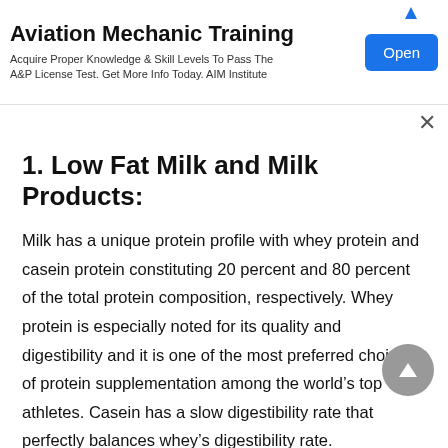[Figure (infographic): Advertisement banner for Aviation Mechanic Training. Text: 'Aviation Mechanic Training — Acquire Proper Knowledge & Skill Levels To Pass The A&P License Test. Get More Info Today. AIM Institute' with an 'Open' button.]
1. Low Fat Milk and Milk Products:
Milk has a unique protein profile with whey protein and casein protein constituting 20 percent and 80 percent of the total protein composition, respectively. Whey protein is especially noted for its quality and digestibility and it is one of the most preferred choices of protein supplementation among the world's top athletes. Casein has a slow digestibility rate that perfectly balances whey's digestibility rate.
When your body uses the whey protein quickly, casein